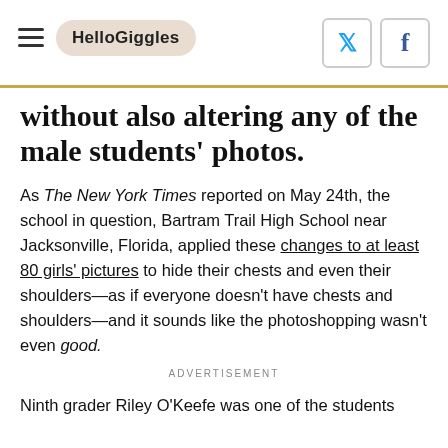HelloGiggles
without also altering any of the male students' photos.
As The New York Times reported on May 24th, the school in question, Bartram Trail High School near Jacksonville, Florida, applied these changes to at least 80 girls' pictures to hide their chests and even their shoulders—as if everyone doesn't have chests and shoulders—and it sounds like the photoshopping wasn't even good.
ADVERTISEMENT
Ninth grader Riley O'Keefe was one of the students who...